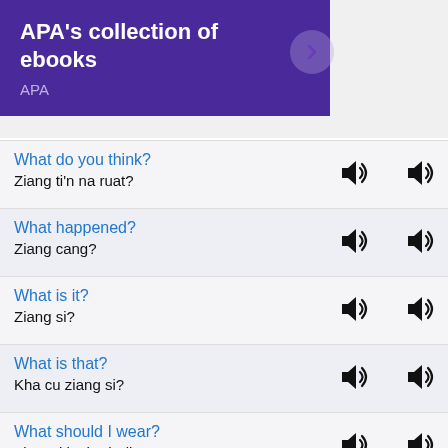[Figure (screenshot): Purple banner with text 'APA's collection of ebooks' and subtitle 'APA' with a right arrow button]
What do you think?
Ziang ti'n na ruat?
What happened?
Ziang cang?
What is it?
Ziang si?
What is that?
Kha cu ziang si?
What should I wear?
Ziangsi ka hruh ding?